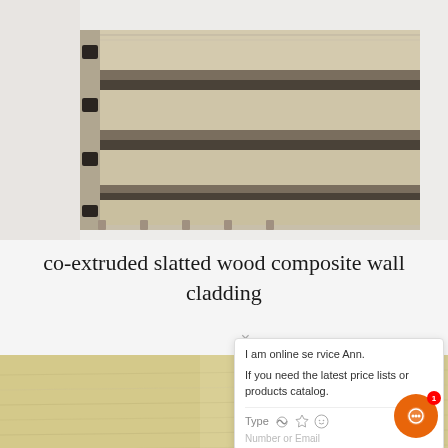[Figure (photo): Close-up product photo of co-extruded slatted wood composite wall cladding panels showing multiple parallel hollow slots/channels and the ribbed surface texture in a beige/tan color]
co-extruded slatted wood composite wall cladding
[Figure (photo): Close-up photo of a single composite wall cladding board showing the light wood-grain surface texture finish in golden/sandy color with a dark base edge visible]
I am online service Ann.

If you need the latest price lists or products catalog.

Type  [thumbs up] [paperclip] [emoji]

Number or Email